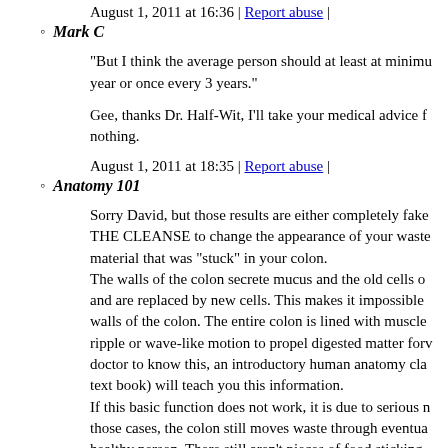August 1, 2011 at 16:36 | Report abuse |
Mark C
"But I think the average person should at least at minimum once a year or once every 3 years."
Gee, thanks Dr. Half-Wit, I'll take your medical advice from you for nothing.
August 1, 2011 at 18:35 | Report abuse |
Anatomy 101
Sorry David, but those results are either completely fake or IT IS THE CLEANSE to change the appearance of your waste, not some material that was "stuck" in your colon. The walls of the colon secrete mucus and the old cells on the wall shed and are replaced by new cells. This makes it impossible for stuff to stick to walls of the colon. The entire colon is lined with muscle that makes a ripple or wave-like motion to propel digested matter forward. You don't need a doctor to know this, an introductory human anatomy class (or the text book) will teach you this information. If this basic function does not work, it is due to serious medical issues. In those cases, the colon still moves waste through eventually. In a healthy person. There still aren't pieces of food sticking to the intestine.